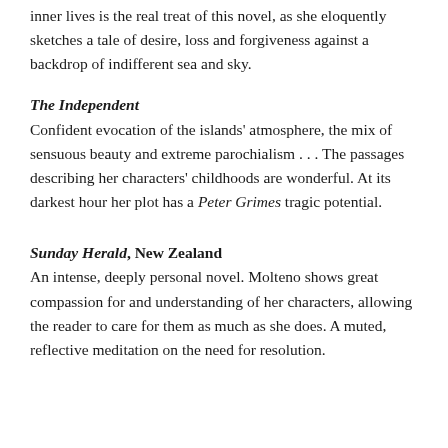inner lives is the real treat of this novel, as she eloquently sketches a tale of desire, loss and forgiveness against a backdrop of indifferent sea and sky.
The Independent
Confident evocation of the islands' atmosphere, the mix of sensuous beauty and extreme parochialism . . . The passages describing her characters' childhoods are wonderful. At its darkest hour her plot has a Peter Grimes tragic potential.
Sunday Herald, New Zealand
An intense, deeply personal novel. Molteno shows great compassion for and understanding of her characters, allowing the reader to care for them as much as she does. A muted, reflective meditation on the need for resolution.